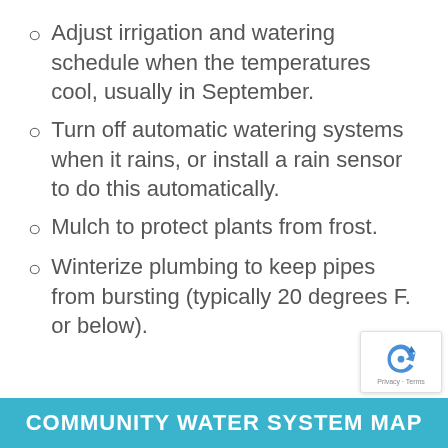Adjust irrigation and watering schedule when the temperatures cool, usually in September.
Turn off automatic watering systems when it rains, or install a rain sensor to do this automatically.
Mulch to protect plants from frost.
Winterize plumbing to keep pipes from bursting (typically 20 degrees F. or below).
COMMUNITY WATER SYSTEM MAP